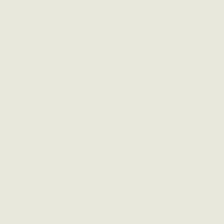I'm also addicted to dimensionals (ma all things related to stamping!). Ther behind the scalloped circle, and behin dimensionals add depth and interest t
Well that's it for today. I hope you ha We've invited friends and family over fun. Thanks for stopping by! ~Dann
Stamps: Sweet Celebrations
Paper: White, Pumpkin Pie, Temptin
Ink: Pumpkin Pie, Tempting Turquo
Accessories: River Rock Double-stit Dimensionals, Crafters' Tool Kit
Punches: Scalloped Circle, Circle (1
Posted at 01:24 PM in Birthdays, Cards, Quick and B
Tweet | Pin it | Li
May 22, 2008
Blog Candy!
Some time this evening one of you w believe it. Thank you for visiting me